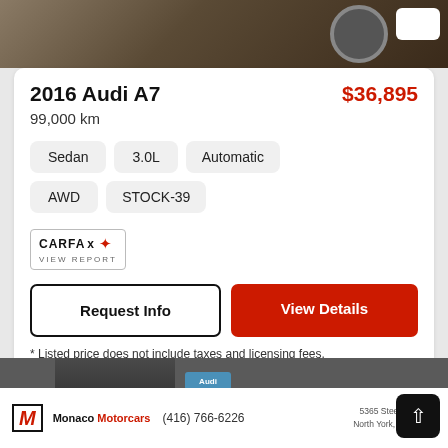[Figure (photo): Top portion of a car listing photo showing vehicle and dealership]
2016 Audi A7
$36,895
99,000 km
Sedan
3.0L
Automatic
AWD
STOCK-39
[Figure (logo): CARFAX Canada logo with VIEW REPORT text]
Request Info
View Details
* Listed price does not include taxes and licensing fees.
[Figure (photo): Bottom portion showing Monaco Motorcars dealership with building and Audi sign]
Monaco Motorcars (416) 766-6226
5365 Steeles Ave W, North York, ON M9L 1